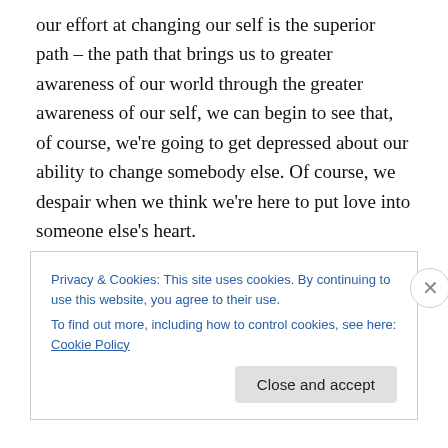our effort at changing our self is the superior path – the path that brings us to greater awareness of our world through the greater awareness of our self, we can begin to see that, of course, we're going to get depressed about our ability to change somebody else. Of course, we despair when we think we're here to put love into someone else's heart.

There's a paradox here.  These tasks are not realistic tasks for us. These tasks are not the tasks set before us by God.  These tasks are not why we're here. We're not
Privacy & Cookies: This site uses cookies. By continuing to use this website, you agree to their use.
To find out more, including how to control cookies, see here: Cookie Policy
Close and accept